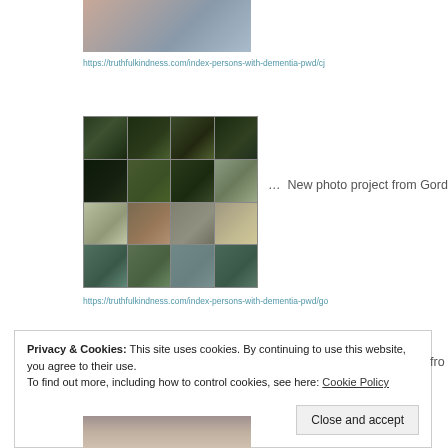[Figure (photo): Cropped photo of two people, partially visible at top]
https://truthfulkindness.com/index-persons-with-dementia-pwd/cj
[Figure (photo): 4x4 grid of wildlife/nature photos showing black bears, birds, deer, and landscape scenes]
… New photo project from Gord S
https://truthfulkindness.com/index-persons-with-dementia-pwd/go
Privacy & Cookies: This site uses cookies. By continuing to use this website, you agree to their use.
To find out more, including how to control cookies, see here: Cookie Policy
[Figure (photo): Partially visible photo of a person at the bottom of the page]